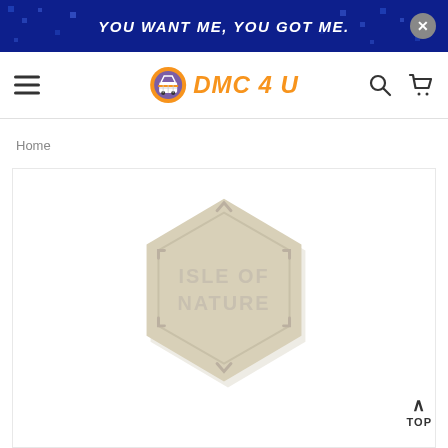YOU WANT ME, YOU GOT ME.
[Figure (logo): DMC 4 U logo with shopping cart icon and orange italic text]
Home
[Figure (photo): Hexagonal beige/cream colored badge or token with text ISLE OF NATURE embossed on it, photographed on white background]